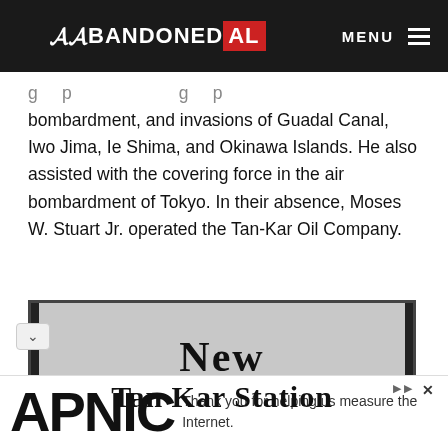ABANDONED AL | MENU
bombardment, and invasions of Guadal Canal, Iwo Jima, Ie Shima, and Okinawa Islands. He also assisted with the covering force in the air bombardment of Tokyo. In their absence, Moses W. Stuart Jr. operated the Tan-Kar Oil Company.
[Figure (photo): Black and white newspaper clipping or advertisement showing bold text reading 'New' on top line and 'Tan Kar Station' on bottom line, with black vertical bars on left and right edges.]
APNIC — Thank you for helping us measure the Internet.